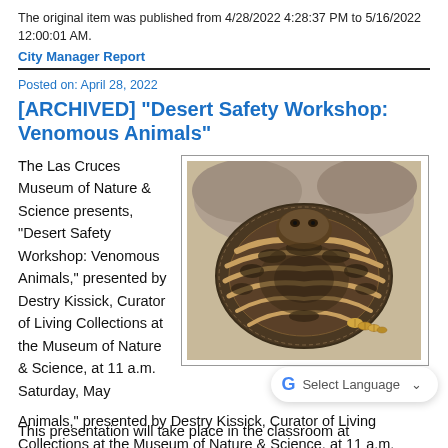The original item was published from 4/28/2022 4:28:37 PM to 5/16/2022 12:00:01 AM.
City Manager Report
Posted on: April 28, 2022
[ARCHIVED] "Desert Safety Workshop: Venomous Animals"
The Las Cruces Museum of Nature & Science presents, “Desert Safety Workshop: Venomous Animals,” presented by Destry Kissick, Curator of Living Collections at the Museum of Nature & Science, at 11 a.m. Saturday, May
[Figure (photo): A coiled rattlesnake photographed outdoors on a sandy/rocky surface, showing its rattle.]
This presentation will take place in the classroom at